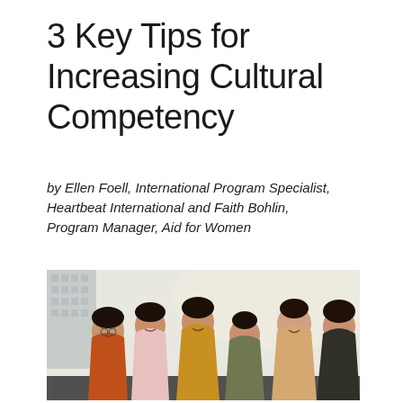3 Key Tips for Increasing Cultural Competency
by Ellen Foell, International Program Specialist, Heartbeat International and Faith Bohlin, Program Manager, Aid for Women
[Figure (photo): Group of five young women of Asian descent smiling and laughing together outdoors, with a building in the background. They are wearing colorful casual tops — orange, pink, yellow, green, and beige.]